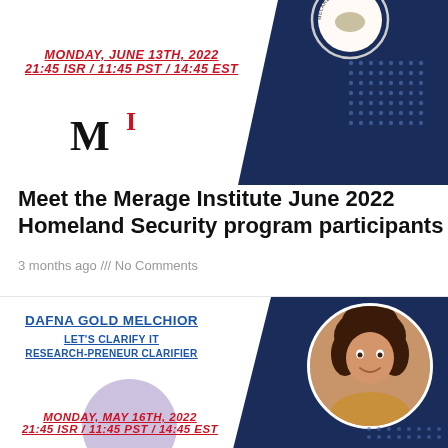[Figure (logo): Homeland Security seal/badge partially visible in top right corner on dark navy background]
MONDAY, JUNE 13TH, 2022
21:45 ISR / 11:45 PST / 14:45 EST
[Figure (logo): MI logo — stylized M and red superscript I]
Meet the Merage Institute June 2022 Homeland Security program participants
3 months ago /// No Comments
DAFNA GOLD MELCHIOR
LET'S CLARIFY IT
RESEARCH-PRENEUR CLARIFIER
[Figure (photo): Headshot photo of Dafna Gold Melchior, woman with curly brown hair, smiling, in circular frame on navy blue background]
MONDAY, MAY 16TH, 2022
21:45 ISR / 11:45 PST / 14:45 EST